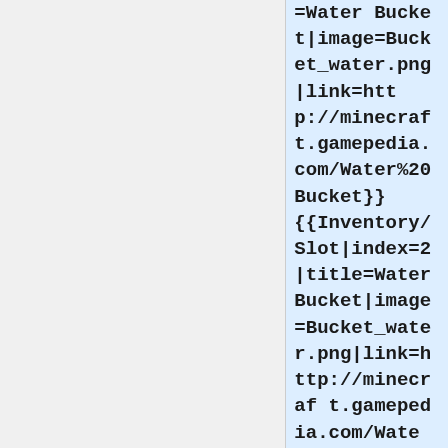=Water Bucket|image=Bucket_water.png|link=http://minecraf t.gamepedia.com/Water%20Bucket}} {{Inventory/Slot|index=2|title=Water Bucket|image=Bucket_water.png|link=http://minecraf t.gamepedia.com/Water%20Bucket